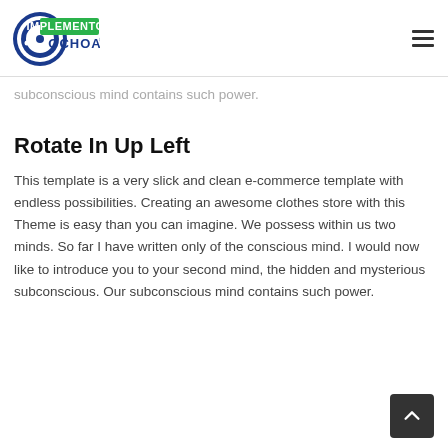Implementos Ochoa logo and navigation
subconscious mind contains such power.
Rotate In Up Left
This template is a very slick and clean e-commerce template with endless possibilities. Creating an awesome clothes store with this Theme is easy than you can imagine. We possess within us two minds. So far I have written only of the conscious mind. I would now like to introduce you to your second mind, the hidden and mysterious subconscious. Our subconscious mind contains such power.